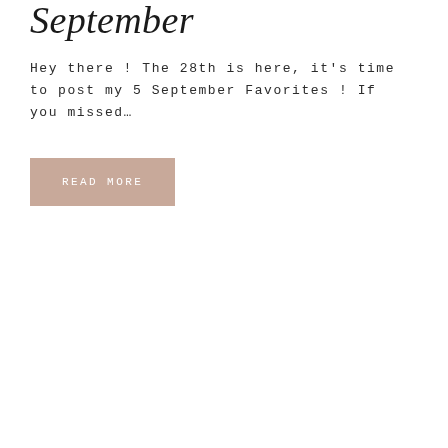September
Hey there! The 28th is here, it's time to post my 5 September Favorites! If you missed…
READ MORE